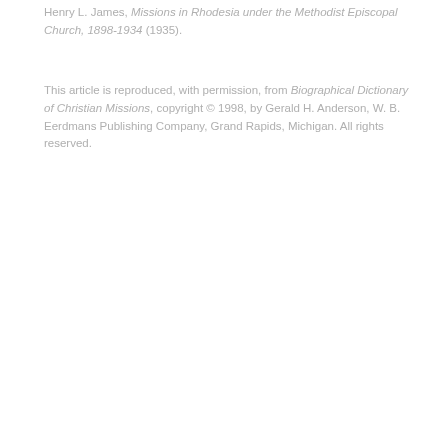Henry L. James, Missions in Rhodesia under the Methodist Episcopal Church, 1898-1934 (1935).
This article is reproduced, with permission, from Biographical Dictionary of Christian Missions, copyright © 1998, by Gerald H. Anderson, W. B. Eerdmans Publishing Company, Grand Rapids, Michigan. All rights reserved.